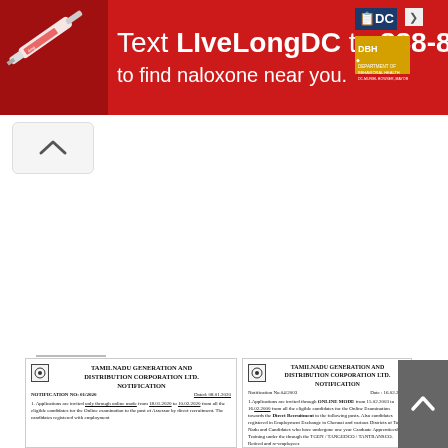[Figure (infographic): Red banner advertisement: Text LIveLongDC to 888-811 to find naloxone near you. Features syringe image on left and DC/DBH logos on right.]
[Figure (screenshot): Collapse/accordion arrow button (chevron up) below the banner.]
Related
[Figure (screenshot): Thumbnail of TAMILNADU GENERATION AND DISTRIBUTION CORPORATION LTD. NOTIFICATION document, Notification No. 01/2020, Dated: 08.01.2020]
[Figure (screenshot): Thumbnail of TAMILNADU GENERATION AND DISTRIBUTION CORPORATION LTD. NOTIFICATION document, Notification No.04/2003, Date: 16.02.2000]